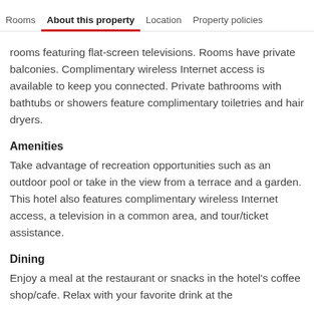Rooms | About this property | Location | Property policies
rooms featuring flat-screen televisions. Rooms have private balconies. Complimentary wireless Internet access is available to keep you connected. Private bathrooms with bathtubs or showers feature complimentary toiletries and hair dryers.
Amenities
Take advantage of recreation opportunities such as an outdoor pool or take in the view from a terrace and a garden. This hotel also features complimentary wireless Internet access, a television in a common area, and tour/ticket assistance.
Dining
Enjoy a meal at the restaurant or snacks in the hotel's coffee shop/cafe. Relax with your favorite drink at the